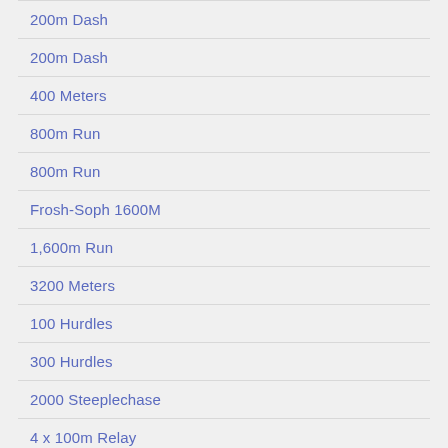200m Dash
200m Dash
400 Meters
800m Run
800m Run
Frosh-Soph 1600M
1,600m Run
3200 Meters
100 Hurdles
300 Hurdles
2000 Steeplechase
4 x 100m Relay
Frosh-Soph 4 x 100m Relay
Frosh-Soph 4 x 400m Relay